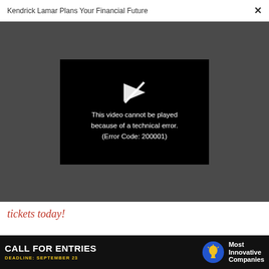Kendrick Lamar Plans Your Financial Future  ×
[Figure (screenshot): Video player showing error: 'This video cannot be played because of a technical error. (Error Code: 200001)' on black background within dark gray video area.]
tickets today!
ADVERTISEMENT
[Figure (screenshot): Indiana Economic Development Corp advertisement banner with person image]
[Figure (screenshot): Bottom overlay ad: CALL FOR ENTRIES / DEADLINE: SEPTEMBER 23 / Most Innovative Companies]